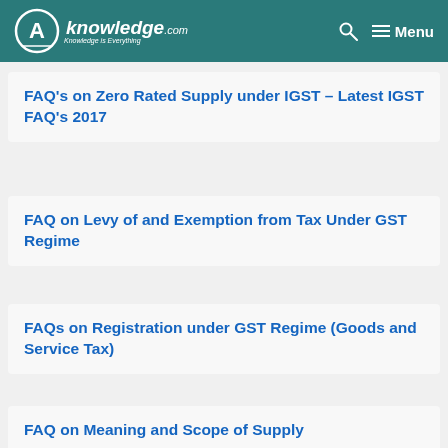CA Knowledge.com — Menu
FAQ's on Zero Rated Supply under IGST – Latest IGST FAQ's 2017
FAQ on Levy of and Exemption from Tax Under GST Regime
FAQs on Registration under GST Regime (Goods and Service Tax)
FAQ on Meaning and Scope of Supply